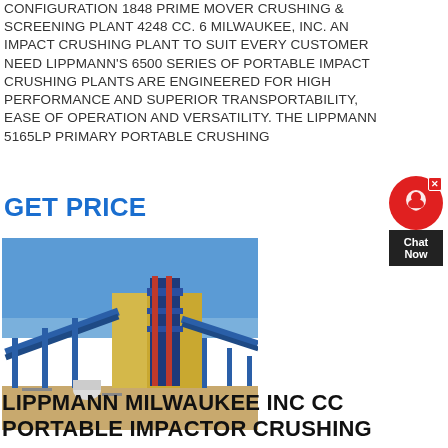CONFIGURATION 1848 PRIME MOVER CRUSHING & SCREENING PLANT 4248 CC. 6 MILWAUKEE, INC. AN IMPACT CRUSHING PLANT TO SUIT EVERY CUSTOMER NEED LIPPMANN'S 6500 SERIES OF PORTABLE IMPACT CRUSHING PLANTS ARE ENGINEERED FOR HIGH PERFORMANCE AND SUPERIOR TRANSPORTABILITY, EASE OF OPERATION AND VERSATILITY. THE LIPPMANN 5165LP PRIMARY PORTABLE CRUSHING
GET PRICE
[Figure (photo): Outdoor photo of an industrial crushing and screening plant facility with blue steel conveyor belts, a tall central processing tower structure, and a yellow warehouse building in the background under a clear blue sky.]
LIPPMANN MILWAUKEE INC CC PORTABLE IMPACTOR CRUSHING